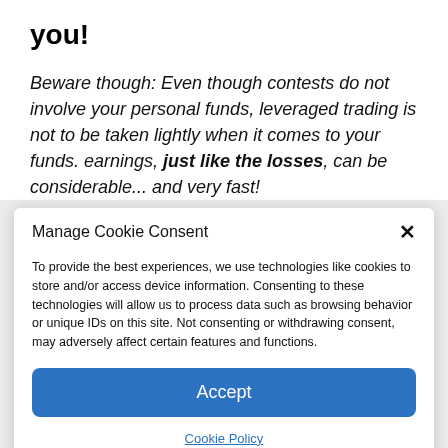you!
Beware though: Even though contests do not involve your personal funds, leveraged trading is not to be taken lightly when it comes to your funds. earnings, just like the losses, can be considerable... and very fast!
Manage Cookie Consent
To provide the best experiences, we use technologies like cookies to store and/or access device information. Consenting to these technologies will allow us to process data such as browsing behavior or unique IDs on this site. Not consenting or withdrawing consent, may adversely affect certain features and functions.
Accept
Cookie Policy